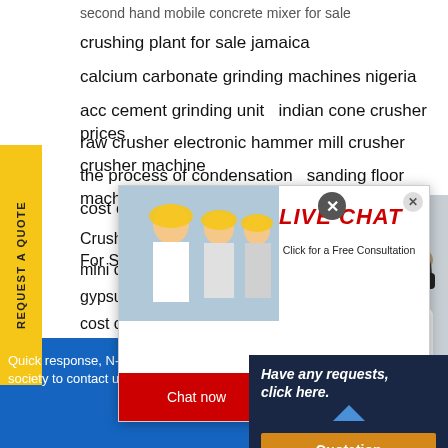second hand mobile concrete mixer for sale
crushing plant for sale jamaica
calcium carbonate grinding machines nigeria
acc cement grinding unit   indian cone crusher prices
raw crusher electronic hammer mill crusher crusher machine
the process of condensation   sanding floor machine
cost of stone crusher in india gb
Crusher Maintenance Check List   Crusher Machine For Stones
mini crusher
gypsum co
cost of a ce
[Figure (screenshot): Live Chat popup with workers in yellow helmets, LIVE CHAT header in red italic, Click for a Free Consultation subtitle, Chat now (red) and Chat later (dark) buttons]
[Figure (photo): Customer service representative with headset on right side]
REQUEST A QUOTE (vertical sidebar)
Quick response, N-CAI Heavy Industry w society to contact us, we are waiting for y
Have any requests, click here.
Quotation